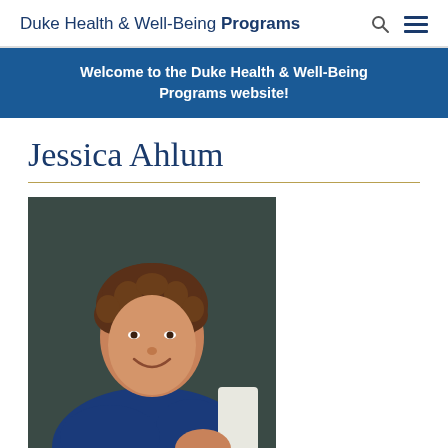Duke Health & Well-Being Programs
Welcome to the Duke Health & Well-Being Programs website!
Jessica Ahlum
[Figure (photo): Portrait photo of Jessica Ahlum, a woman with short curly brown hair, smiling, wearing a navy blue sleeveless top, seated at an angle against a dark background.]